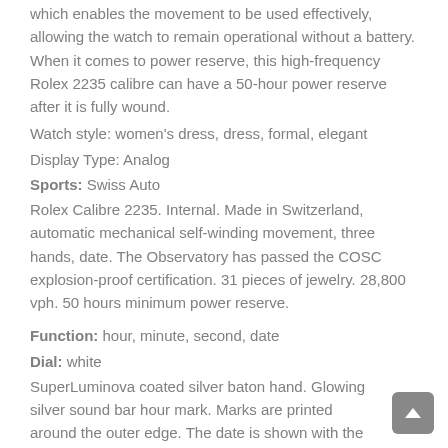which enables the movement to be used effectively, allowing the watch to remain operational without a battery. When it comes to power reserve, this high-frequency Rolex 2235 calibre can have a 50-hour power reserve after it is fully wound.
Watch style: women's dress, dress, formal, elegant
Display Type: Analog
Sports: Swiss Auto
Rolex Calibre 2235. Internal. Made in Switzerland, automatic mechanical self-winding movement, three hands, date. The Observatory has passed the COSC explosion-proof certification. 31 pieces of jewelry. 28,800 vph. 50 hours minimum power reserve.
Function: hour, minute, second, date
Dial: white
SuperLuminova coated silver baton hand. Glowing silver sound bar hour mark. Marks are printed around the outer edge. The date is shown with the Cyclops magnifying glass at 3.